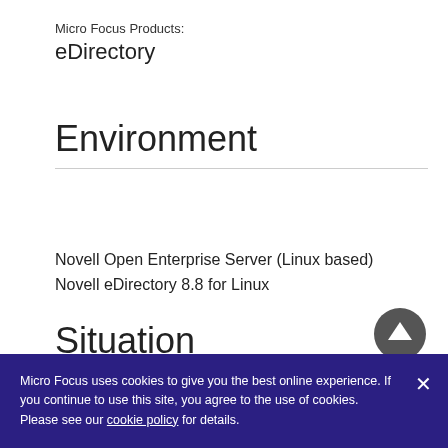Micro Focus Products:
eDirectory
Environment
Novell Open Enterprise Server (Linux based)
Novell eDirectory 8.8 for Linux
Situation
The online documentation eDirectory 8.8 Installation Guide - 3.6 Installing eDirectory for
Micro Focus uses cookies to give you the best online experience. If you continue to use this site, you agree to the use of cookies. Please see our cookie policy for details.